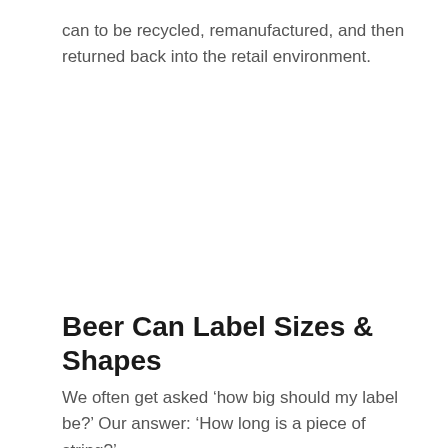can to be recycled, remanufactured, and then returned back into the retail environment.
Beer Can Label Sizes & Shapes
We often get asked ‘how big should my label be?’ Our answer: ‘How long is a piece of string?’